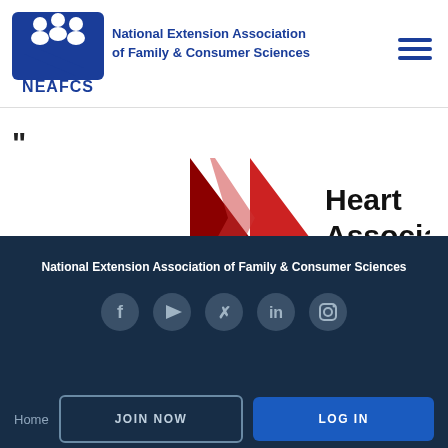[Figure (logo): NEAFCS logo — blue 'n' shape with three person silhouettes on top, text 'NEAFCS' below, alongside text 'National Extension Association of Family & Consumer Sciences']
[Figure (logo): American Heart Association partial logo — red heart/chevron shape with text 'Heart Association.' in bold black]
National Extension Association of Family & Consumer Sciences
[Figure (other): Social media icons row: Facebook, YouTube, Twitter, LinkedIn, Instagram — all in dark gray circle buttons]
Home
JOIN NOW
LOG IN